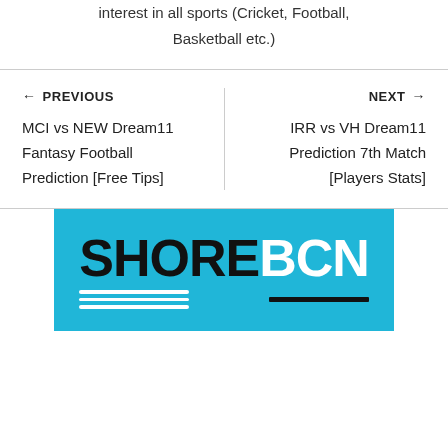interest in all sports (Cricket, Football, Basketball etc.)
← PREVIOUS
MCI vs NEW Dream11 Fantasy Football Prediction [Free Tips]
NEXT →
IRR vs VH Dream11 Prediction 7th Match [Players Stats]
[Figure (logo): SHOREBCN logo on a blue background with wave underlines and a dark bar]